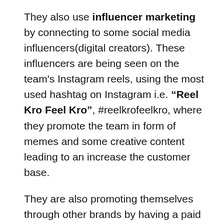They also use influencer marketing by connecting to some social media influencers(digital creators). These influencers are being seen on the team's Instagram reels, using the most used hashtag on Instagram i.e. "Reel Kro Feel Kro", #reelkrofeelkro, where they promote the team in form of memes and some creative content leading to an increase the customer base.
They are also promoting themselves through other brands by having a paid partnership which, in turn, helps both the company as well as the team to increase brand awareness among people.